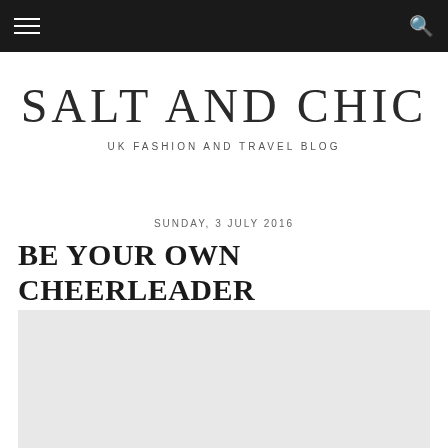navigation bar with hamburger menu and search icon
SALT AND CHIC
UK FASHION AND TRAVEL BLOG
SUNDAY, 3 JULY 2016
BE YOUR OWN CHEERLEADER
[Figure (photo): Light grey placeholder image for blog post]